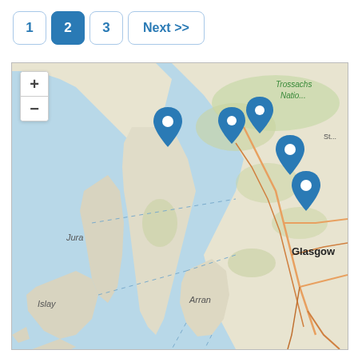[Figure (other): Pagination controls showing buttons: 1, 2 (active/highlighted in blue), 3, and Next >>]
[Figure (map): Interactive map of western Scotland showing areas including Jura, Islay, Arran, Glasgow, and Trossachs National Park, with five blue location pin markers placed at various points on the map. Zoom in (+) and zoom out (-) controls are visible in the upper left of the map.]